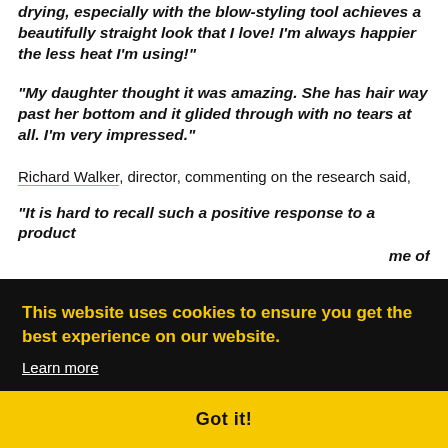"drying, especially with the blow-styling tool achieves a beautifully straight look that I love! I'm always happier the less heat I'm using!"
"My daughter thought it was amazing. She has hair way past her bottom and it glided through with no tears at all. I'm very impressed."
Richard Walker, director, commenting on the research said,
"It is hard to recall such a positive response to a product ... me of ... e ... been ... ate
This website uses cookies to ensure you get the best experience on our website. Learn more
Got it!